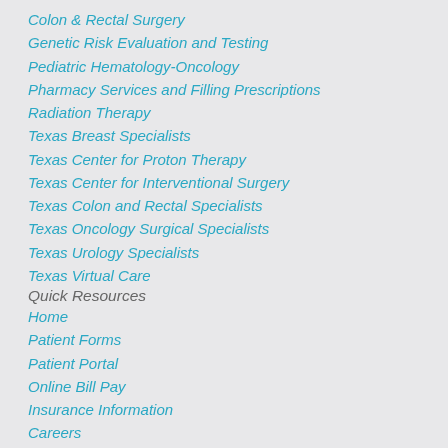Colon & Rectal Surgery
Genetic Risk Evaluation and Testing
Pediatric Hematology-Oncology
Pharmacy Services and Filling Prescriptions
Radiation Therapy
Texas Breast Specialists
Texas Center for Proton Therapy
Texas Center for Interventional Surgery
Texas Colon and Rectal Specialists
Texas Oncology Surgical Specialists
Texas Urology Specialists
Texas Virtual Care
Quick Resources
Home
Patient Forms
Patient Portal
Online Bill Pay
Insurance Information
Careers
Media Center
Video Library